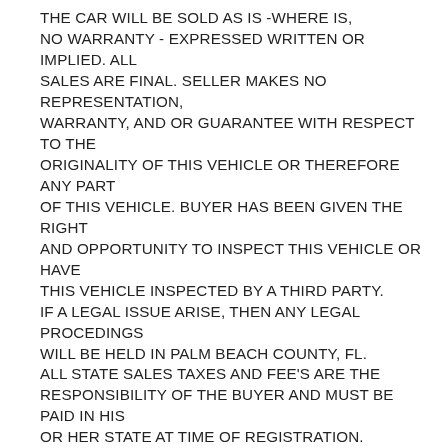THE CAR WILL BE SOLD AS IS -WHERE IS, NO WARRANTY - EXPRESSED WRITTEN OR IMPLIED. ALL SALES ARE FINAL. SELLER MAKES NO REPRESENTATION, WARRANTY, AND OR GUARANTEE WITH RESPECT TO THE ORIGINALITY OF THIS VEHICLE OR THEREFORE ANY PART OF THIS VEHICLE. BUYER HAS BEEN GIVEN THE RIGHT AND OPPORTUNITY TO INSPECT THIS VEHICLE OR HAVE THIS VEHICLE INSPECTED BY A THIRD PARTY. IF A LEGAL ISSUE ARISE, THEN ANY LEGAL PROCEDINGS WILL BE HELD IN PALM BEACH COUNTY, FL. ALL STATE SALES TAXES AND FEE'S ARE THE RESPONSIBILITY OF THE BUYER AND MUST BE PAID IN HIS OR HER STATE AT TIME OF REGISTRATION. MILEAGE ON VEHICLES SOLD OVER 10 YEARS OLD IN THE STATE OF FLORIDA ARE SOLD AS "MILEAGE EXEMPT" UNLESS STATED IN THE AD THAT THE CAR IS SOLD AS "TRUE MILEAGE WITH SUPPORTED DOCUMENTATION", IT IS SOLD AS "MILEAGE EXEMPT". THIS IS DUE PRIMARILY BECAUSE OF THE AGE OF THESE VEHICLES. IF BUYER BIDS, WINS, AND / OR BUYS THIS VEHICL, THEN THE BUYER FULLY ACKNOWLEDGES, FULLY UNDERSTANDS, FULLY AGREES, AND FULLY ACCEPTS THE